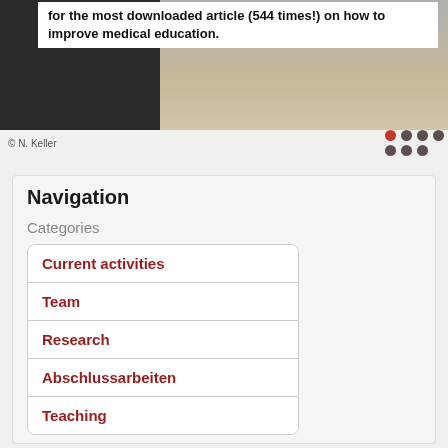[Figure (photo): Partial face/person photograph with dark left section and skin-toned right section]
for the most downloaded article (544 times!) on how to improve medical education.
© N. Keller
Navigation
Categories
Current activities
Team
Research
Abschlussarbeiten
Teaching